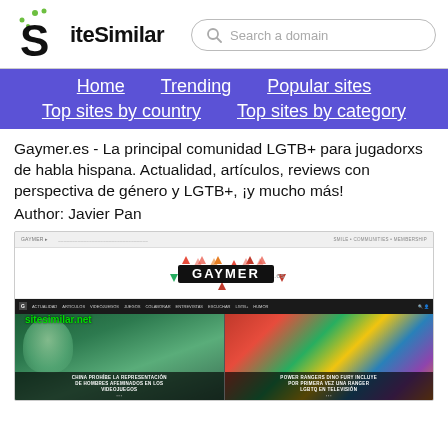[Figure (logo): SiteSimilar logo with stylized S icon and green dots]
Search a domain
Home  Trending  Popular sites  Top sites by country  Top sites by category
Gaymer.es - La principal comunidad LGTB+ para jugadorxs de habla hispana. Actualidad, artículos, reviews con perspectiva de género y LGTB+, ¡y mucho más!
Author: Javier Pan
[Figure (screenshot): Screenshot of Gaymer.es website showing the Gaymer logo, navigation bar, and two article thumbnails about LGBTQ gaming topics. Watermark reads sitesimilar.net]